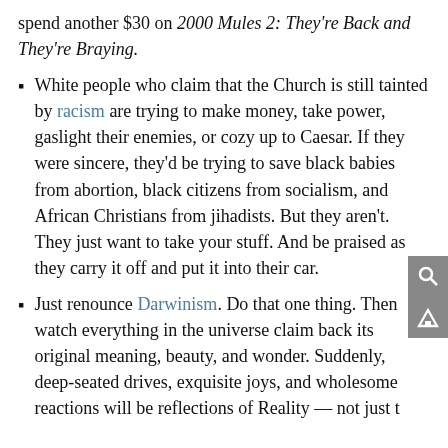spend another $30 on 2000 Mules 2: They're Back and They're Braying.
White people who claim that the Church is still tainted by racism are trying to make money, take power, gaslight their enemies, or cozy up to Caesar. If they were sincere, they'd be trying to save black babies from abortion, black citizens from socialism, and African Christians from jihadists. But they aren't. They just want to take your stuff. And be praised as they carry it off and put it into their car.
Just renounce Darwinism. Do that one thing. Then watch everything in the universe claim back its original meaning, beauty, and wonder. Suddenly, deep-seated drives, exquisite joys, and wholesome reactions will be reflections of Reality — not just the side-effects of "instincts."
Try this with your feelings about children, mountains, and dogs. Then extend the exercise to your gut reactions to politics and culture.